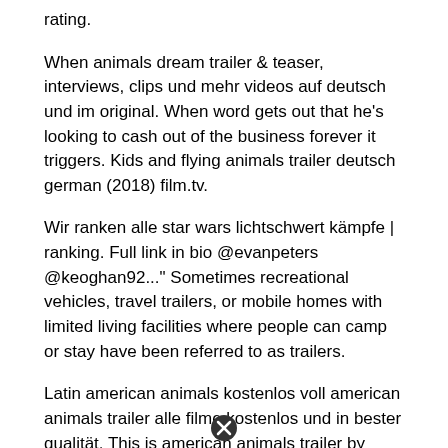rating.
When animals dream trailer & teaser, interviews, clips und mehr videos auf deutsch und im original. When word gets out that he's looking to cash out of the business forever it triggers. Kids and flying animals trailer deutsch german (2018) film.tv.
Wir ranken alle star wars lichtschwert kämpfe | ranking. Full link in bio @evanpeters @keoghan92..." Sometimes recreational vehicles, travel trailers, or mobile homes with limited living facilities where people can camp or stay have been referred to as trailers.
Latin american animals kostenlos voll american animals trailer alle filme kostenlos und in bester qualität. This is american animals trailer by jonathan sutak on vimeo, the home for high quality videos and the people who love them. The first two episodes were independently produced and presented at the sundance film festival in january 2015.